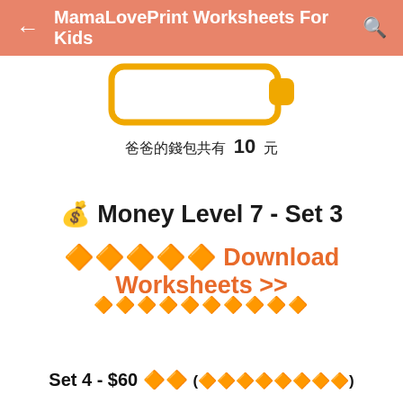← MamaLovePrint Worksheets For Kids 🔍
[Figure (illustration): Partially visible illustration of a yellow wallet/purse with a white interior and orange tab, on white background]
爸爸的錢包共有 10 元
💰 Money Level 7 - Set 3
🔶🔶🔶🔶🔶 Download Worksheets >>
🔶🔶🔶🔶🔶🔶🔶🔶🔶🔶
Set 4 - $60 🔶🔶 (🔶🔶🔶🔶🔶🔶🔶🔶)